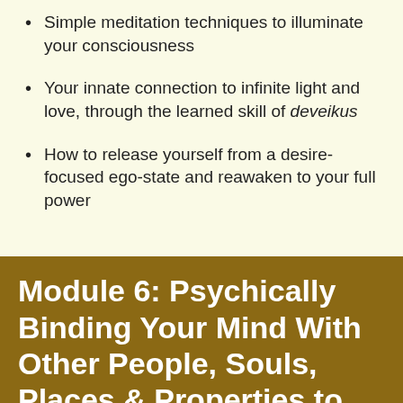Simple meditation techniques to illuminate your consciousness
Your innate connection to infinite light and love, through the learned skill of deveikus
How to release yourself from a desire-focused ego-state and reawaken to your full power
Module 6: Psychically Binding Your Mind With Other People, Souls, Places & Properties to Influence & Receive (HISKASHRUS)